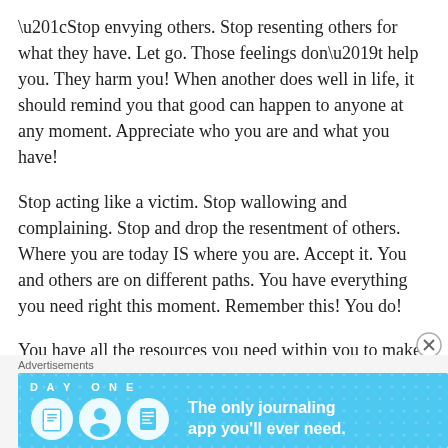“Stop envying others. Stop resenting others for what they have. Let go. Those feelings don’t help you. They harm you! When another does well in life, it should remind you that good can happen to anyone at any moment. Appreciate who you are and what you have!
Stop acting like a victim. Stop wallowing and complaining. Stop and drop the resentment of others. Where you are today IS where you are. Accept it. You and others are on different paths. You have everything you need right this moment. Remember this! You do!
You have all the resources you need within you to make any change you want, if you but look inside and discover them. If you want to feel better, think better! Focus on the good, the
Advertisements
[Figure (illustration): Day One journaling app advertisement banner with blue background, app icons (book, face, document), and text 'The only journaling app you'll ever need.']